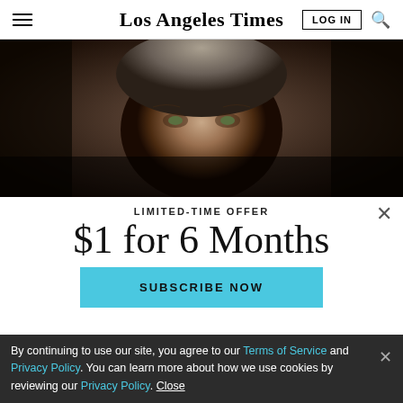Los Angeles Times
[Figure (photo): Close-up photo of an older man with gray hair, looking directly at the camera against a dark background]
LIMITED-TIME OFFER
$1 for 6 Months
SUBSCRIBE NOW
By continuing to use our site, you agree to our Terms of Service and Privacy Policy. You can learn more about how we use cookies by reviewing our Privacy Policy. Close